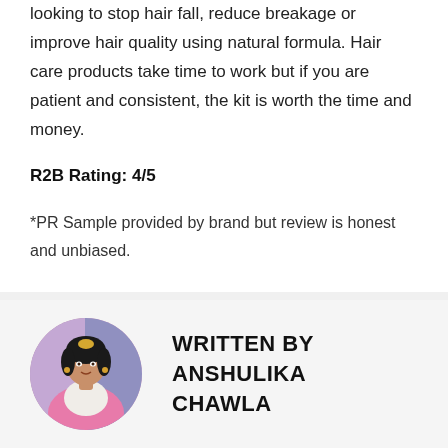looking to stop hair fall, reduce breakage or improve hair quality using natural formula. Hair care products take time to work but if you are patient and consistent, the kit is worth the time and money.
R2B Rating: 4/5
*PR Sample provided by brand but review is honest and unbiased.
[Figure (photo): Circular profile photo of Anshulika Chawla, a woman wearing a pink saree with jewelry]
WRITTEN BY ANSHULIKA CHAWLA